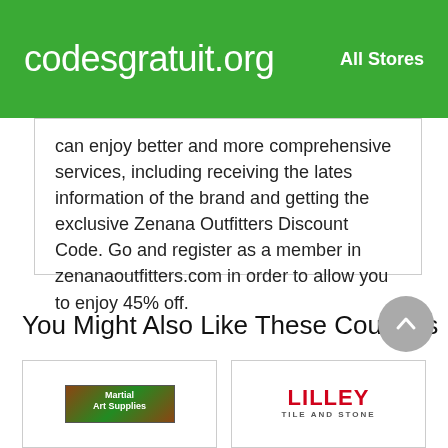codesgratuit.org    All Stores
can enjoy better and more comprehensive services, including receiving the lates information of the brand and getting the exclusive Zenana Outfitters Discount Code. Go and register as a member in zenanaoutfitters.com in order to allow you to enjoy 45% off.
You Might Also Like These Coupons
[Figure (logo): Martial Art Supplies store logo — colorful banner-style logo with green and brown tones]
[Figure (logo): Lilley Tile and Stone store logo — red bold LILLEY text with subtitle TILE AND STONE]